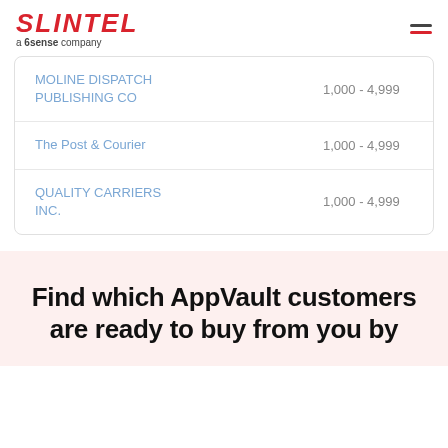SLINTEL a 6sense company
| Company | Employee Range |
| --- | --- |
| MOLINE DISPATCH PUBLISHING CO | 1,000 - 4,999 |
| The Post & Courier | 1,000 - 4,999 |
| QUALITY CARRIERS INC. | 1,000 - 4,999 |
Find which AppVault customers are ready to buy from you by